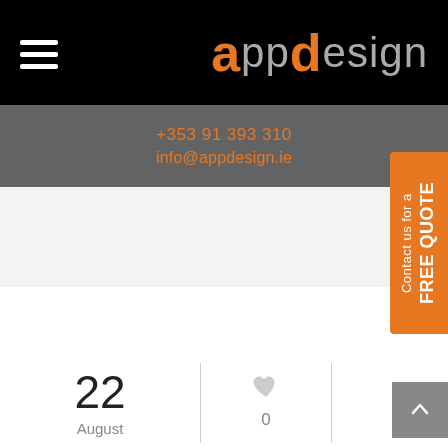[Figure (logo): App Design logo with hamburger menu icon on black header bar. Orange 'a' and 'd' letters with grey 'pp' and 'esign' text.]
+353 91 393 310
info@appdesign.ie
[Figure (infographic): Orange vertical tab on right side reading 'Contact us for a FREE QUOTE']
22
August
0